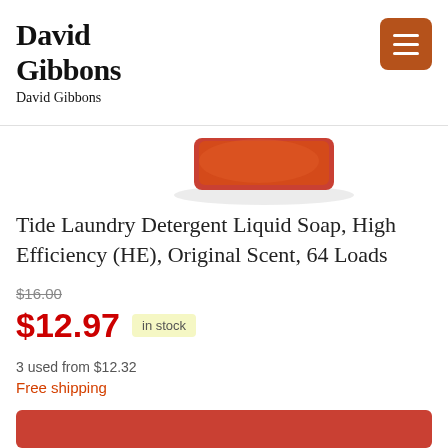David Gibbons
David Gibbons
[Figure (photo): Partial view of a Tide laundry detergent bottle (orange/red cap visible) on a white background]
Tide Laundry Detergent Liquid Soap, High Efficiency (HE), Original Scent, 64 Loads
$16.00
$12.97  in stock
3 used from $12.32
Free shipping